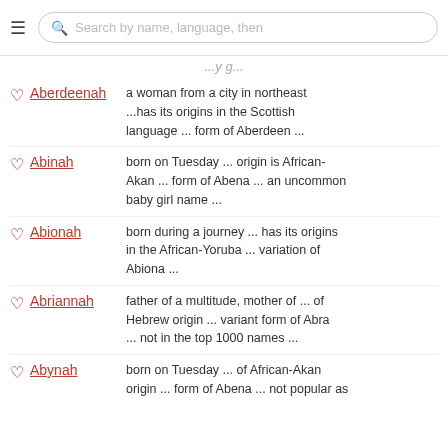Search by name, language, then
Aberdeenah — a woman from a city in northeast ...has its origins in the Scottish language ... form of Aberdeen ...
Abinah — born on Tuesday ... origin is African-Akan ... form of Abena ... an uncommon baby girl name ...
Abionah — born during a journey ... has its origins in the African-Yoruba ... variation of Abiona ...
Abriannah — father of a multitude, mother of ... of Hebrew origin ... variant form of Abra ... not in the top 1000 names ...
Abynah — born on Tuesday ... of African-Akan origin ... form of Abena ... not popular as